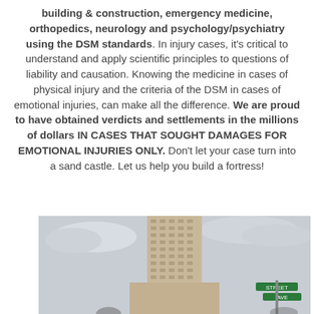building & construction, emergency medicine, orthopedics, neurology and psychology/psychiatry using the DSM standards. In injury cases, it's critical to understand and apply scientific principles to questions of liability and causation. Knowing the medicine in cases of physical injury and the criteria of the DSM in cases of emotional injuries, can make all the difference. We are proud to have obtained verdicts and settlements in the millions of dollars IN CASES THAT SOUGHT DAMAGES FOR EMOTIONAL INJURIES ONLY. Don't let your case turn into a sand castle. Let us help you build a fortress!
[Figure (photo): A tall historic courthouse or office building photographed from below against a grey sky, with green street signs visible in the lower right corner.]